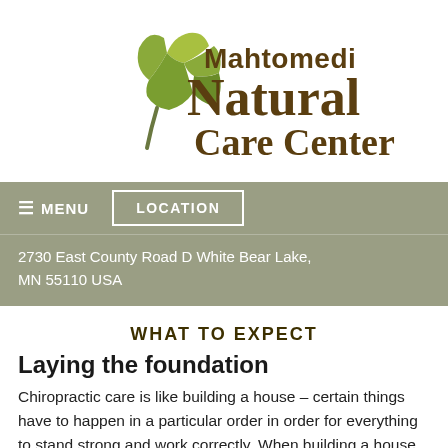[Figure (logo): Mahtomedi Natural Care Center logo with green leaf graphic and brown serif text]
≡ MENU   LOCATION
2730 East County Road D White Bear Lake, MN 55110 USA
WHAT TO EXPECT
Laying the foundation
Chiropractic care is like building a house – certain things have to happen in a particular order in order for everything to stand strong and work correctly. When building a house